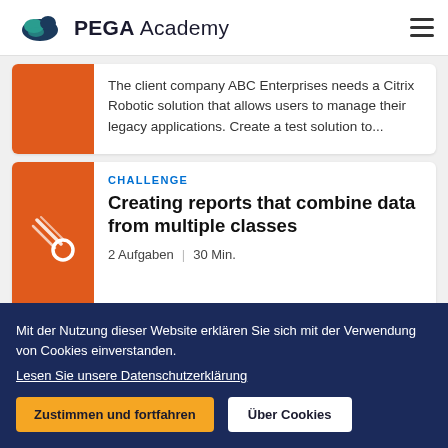PEGA Academy
The client company ABC Enterprises needs a Citrix Robotic solution that allows users to manage their legacy applications. Create a test solution to...
CHALLENGE
Creating reports that combine data from multiple classes
2 Aufgaben   30 Min.
Mit der Nutzung dieser Website erklären Sie sich mit der Verwendung von Cookies einverstanden.
Lesen Sie unsere Datenschutzerklärung
Zustimmen und fortfahren
Über Cookies